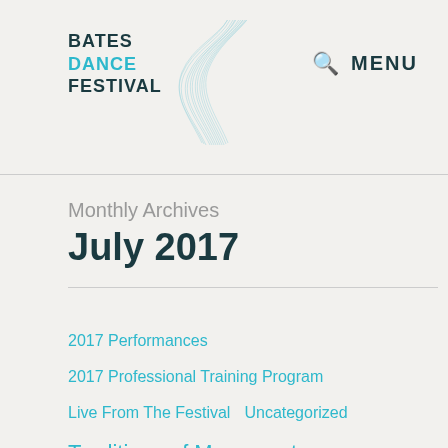[Figure (logo): Bates Dance Festival logo with teal text and decorative wave graphic]
MENU
Monthly Archives
July 2017
2017 Performances
2017 Professional Training Program
Live From The Festival   Uncategorized
Traditions of Movement,